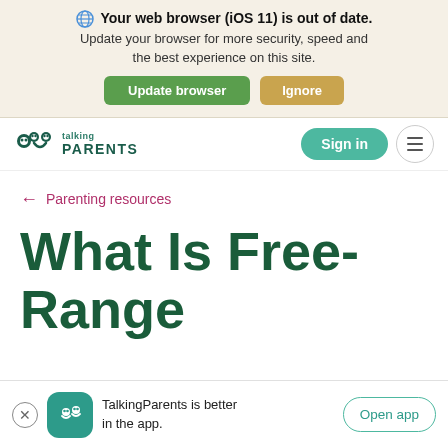[Figure (screenshot): Browser update banner with globe icon, bold warning text 'Your web browser (iOS 11) is out of date.', subtitle text, and two buttons: 'Update browser' (green) and 'Ignore' (tan/gold)]
[Figure (screenshot): TalkingParents website navigation bar with logo on left, 'Sign in' teal button and hamburger menu icon on right]
← Parenting resources
What Is Free-Range
[Figure (screenshot): Bottom app promotion banner with close button, TalkingParents app icon (teal rounded square with face icon), text 'TalkingParents is better in the app.', and 'Open app' button]